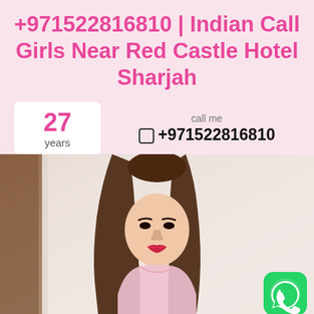+971522816810 | Indian Call Girls Near Red Castle Hotel Sharjah
27 years
call me +971522816810
[Figure (photo): Photo of a young woman with long straight brown hair, wearing light pink clothing, photographed indoors against a light background. A WhatsApp icon button appears in the bottom right corner.]